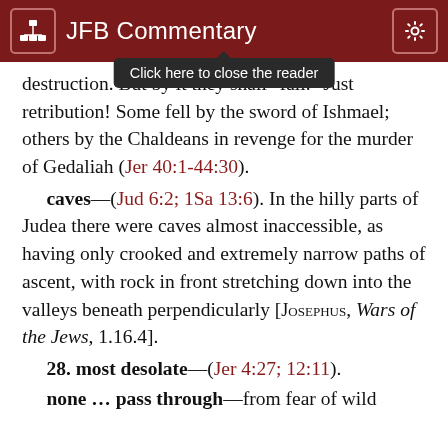JFB Commentary
destruction. But by it they shall "fall." Just retribution! Some fell by the sword of Ishmael; others by the Chaldeans in revenge for the murder of Gedaliah (Jer 40:1-44:30).
caves—(Jud 6:2; 1Sa 13:6). In the hilly parts of Judea there were caves almost inaccessible, as having only crooked and extremely narrow paths of ascent, with rock in front stretching down into the valleys beneath perpendicularly [Josephus, Wars of the Jews, 1.16.4].
28. most desolate—(Jer 4:27; 12:11).
none … pass through—from fear of wild